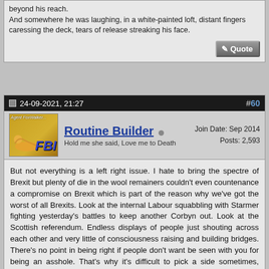beyond his reach.
And somewhere he was laughing, in a white-painted loft, distant fingers caressing the deck, tears of release streaking his face.
24-09-2021, 21:27
#60
Routine Builder
Hold me she said, Love me to Death
Join Date: Sep 2014
Posts: 2,593
But not everything is a left right issue. I hate to bring the spectre of Brexit but plenty of die in the wool remainers couldn't even countenance a compromise on Brexit which is part of the reason why we've got the worst of all Brexits. Look at the internal Labour squabbling with Starmer fighting yesterday's battles to keep another Corbyn out. Look at the Scottish referendum. Endless displays of people just shouting across each other and very little of consciousness raising and building bridges. There's no point in being right if people don't want be seen with you for being an asshole. That's why it's difficult to pick a side sometimes, because even though you might have a nuanced view on something, you're just going to be lumped in with the jackass with the loudest voice.
[Figure (illustration): Simpsons scene showing Homer Simpson in white underwear surrounded by angel-like ghostly figures against a dark blue background]